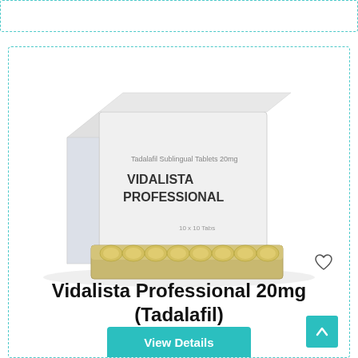[Figure (photo): Product photo of Vidalista Professional 20mg packaging: a white medicine box labeled 'Tadalafil Sublingual Tablets 20mg / VIDALISTA PROFESSIONAL / 10 x 10 Tabs' with a blister pack of yellow/gold tablets in front of it.]
Vidalista Professional 20mg (Tadalafil)
$84.00 – $216.00
View Details